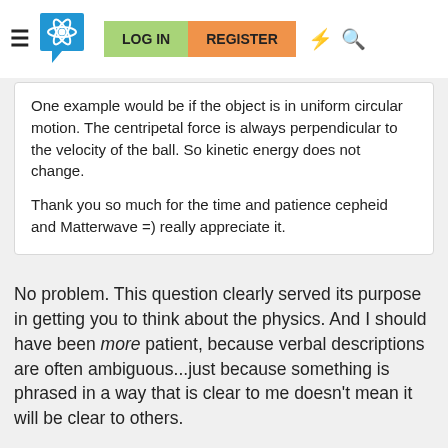≡  [logo]  LOG IN  REGISTER  ⚡  🔍
One example would be if the object is in uniform circular motion. The centripetal force is always perpendicular to the velocity of the ball. So kinetic energy does not change.

Thank you so much for the time and patience cepheid and Matterwave =) really appreciate it.
No problem. This question clearly served its purpose in getting you to think about the physics. And I should have been more patient, because verbal descriptions are often ambiguous...just because something is phrased in a way that is clear to me doesn't mean it will be clear to others.